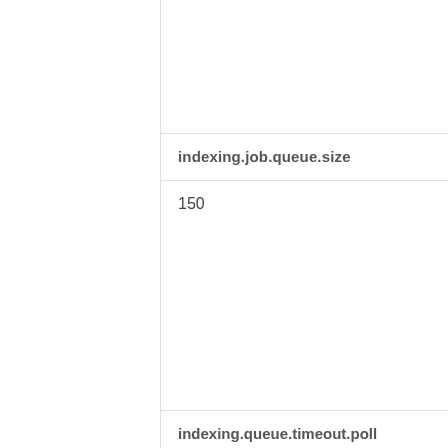indexing.job.queue.size
150
indexing.queue.timeout.poll